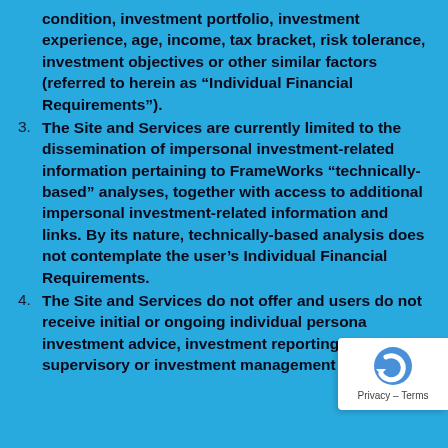condition, investment portfolio, investment experience, age, income, tax bracket, risk tolerance, investment objectives or other similar factors (referred to herein as “Individual Financial Requirements”).
3. The Site and Services are currently limited to the dissemination of impersonal investment-related information pertaining to FrameWorks “technically-based” analyses, together with access to additional impersonal investment-related information and links. By its nature, technically-based analysis does not contemplate the user’s Individual Financial Requirements.
4. The Site and Services do not offer and users do not receive initial or ongoing individual personal investment advice, investment reporting, investment supervisory or investment management